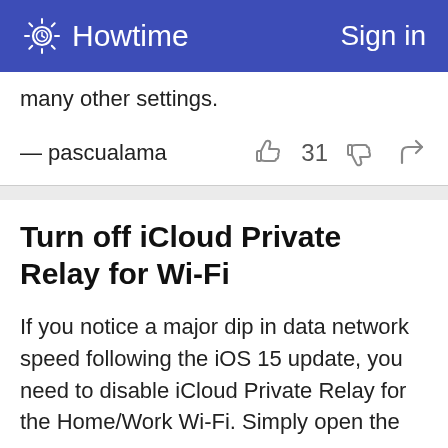Howtime   Sign in
many other settings.
— pascualama   31
Turn off iCloud Private Relay for Wi-Fi
If you notice a major dip in data network speed following the iOS 15 update, you need to disable iCloud Private Relay for the Home/Work Wi-Fi. Simply open the